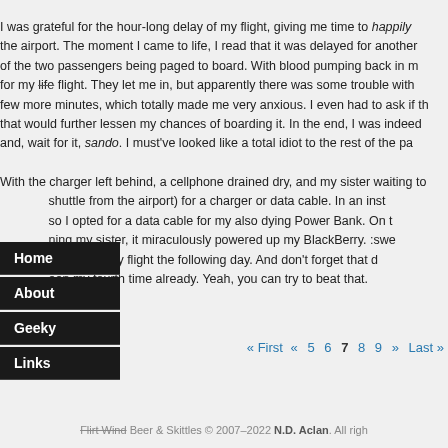I was grateful for the hour-long delay of my flight, giving me time to happily the airport. The moment I came to life, I read that it was delayed for another of the two passengers being paged to board. With blood pumping back in m for my life flight. They let me in, but apparently there was some trouble with few more minutes, which totally made me very anxious. I even had to ask if th that would further lessen my chances of boarding it. In the end, I was indeed and, wait for it, sando. I must've looked like a total idiot to the rest of the pa
With the charger left behind, a cellphone drained dry, and my sister waiting to shuttle from the airport) for a charger or data cable. In an inst so I opted for a data cable for my also dying Power Bank. On t ning my sister, it miraculously powered up my BlackBerry. :swe have an early flight the following day. And don't forget that d een my fourth time already. Yeah, you can try to beat that.
Home
About
Geeky
Links
Flirt Wind Beer & Skittles © 2007–2022 N.D. Aclan. All right